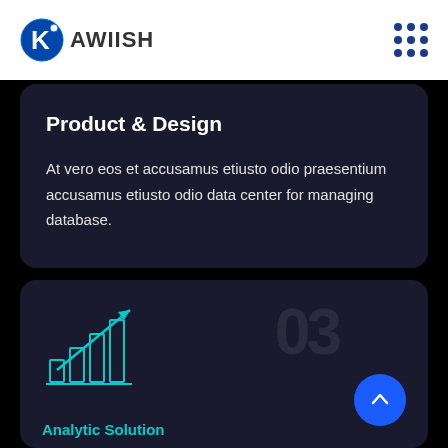[Figure (logo): Kawiish logo with stylized K icon in blue circle]
Product & Design
At vero eos et accusamus etiusto odio praesentium accusamus etiusto odio data center for managing database.
[Figure (infographic): Bar chart growth icon with upward arrow in cyan/teal, number 03 watermark, and blue circular up-arrow button. Partial text 'Analytic Solution' at bottom.]